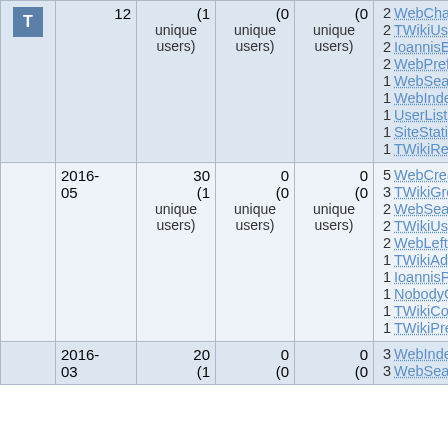|  | Date | Views | Saves | Contrib. | Top Pages |
| --- | --- | --- | --- | --- | --- |
| T | 12 | (1 unique users) | (0 unique users) | (0 unique users) | 2 WebChanges, 2 TWikiUsers, 2 IoannisEvangelou, 2 WebPreferences, 1 WebSearch, 1 WebIndex, 1 UserListByDateJoined, 1 SiteStatistics, 1 TWikiRegistrationAgent |
|  | 2016-05 | 30 (1 unique users) | 0 (0 unique users) | 0 (0 unique users) | 5 WebCreateNewTopic, 3 TWikiGroups, 2 WebSearch, 2 TWikiUsers, 2 WebLeftBar, 1 TWikiAdminUser, 1 IoannisPapadopoulos, 1 NobodyGroup, 1 TWikiContributor, 1 TWikiPreferences |
|  | 2016-03 | 20 (1 | 0 (0 | 0 (0 | 3 WebIndex, 3 WebSearch |